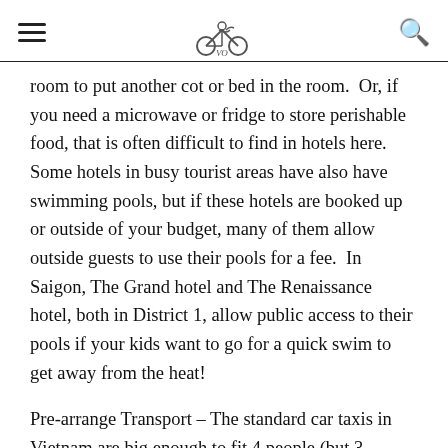≡ [logo] 🔍
room to put another cot or bed in the room.  Or, if you need a microwave or fridge to store perishable food, that is often difficult to find in hotels here.  Some hotels in busy tourist areas have also have swimming pools, but if these hotels are booked up or outside of your budget, many of them allow outside guests to use their pools for a fee.  In Saigon, The Grand hotel and The Renaissance hotel, both in District 1, allow public access to their pools if your kids want to go for a quick swim to get away from the heat!
Pre-arrange Transport – The standard car taxis in Vietnam are big enough to fit 4 people (but 3 comfortably).  Van taxis can fit more, but it can sometimes be a struggle to find vans.  They are also more expensive.  In any case, with a family, it's best to arrange transport beforehand through the hotels so that you